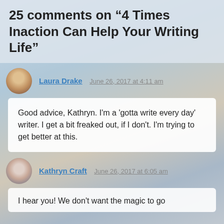25 comments on “4 Times Inaction Can Help Your Writing Life”
Laura Drake
June 26, 2017 at 4:11 am
Good advice, Kathryn. I'm a 'gotta write every day' writer. I get a bit freaked out, if I don't. I'm trying to get better at this.
Kathryn Craft
June 26, 2017 at 6:05 am
I hear you! We don't want the magic to go